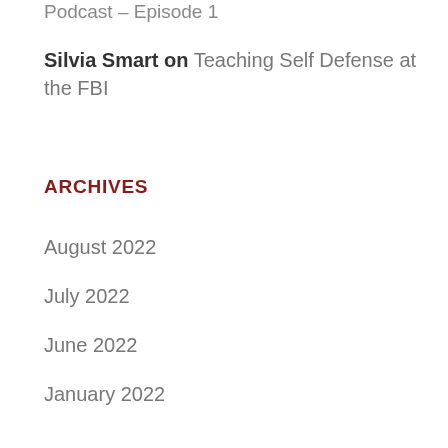Podcast – Episode 1
Silvia Smart on Teaching Self Defense at the FBI
ARCHIVES
August 2022
July 2022
June 2022
January 2022
October 2021
August 2021
July 2021